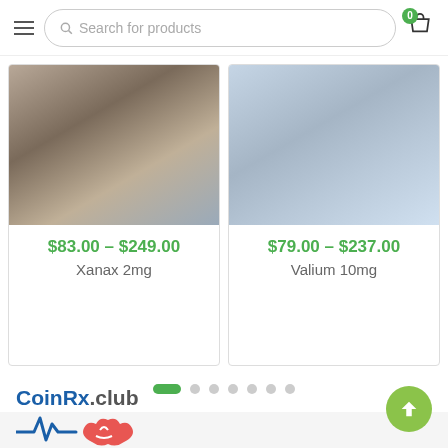[Figure (screenshot): Website header with hamburger menu, search bar labeled 'Search for products', and shopping cart icon with badge showing 0]
[Figure (photo): Product card photo for Xanax 2mg - close-up of medication packaging on a surface]
$83.00 – $249.00
Xanax 2mg
[Figure (photo): Product card photo for Valium 10mg - close-up of pill packaging with blue capsule visible]
$79.00 – $237.00
Valium 10mg
[Figure (other): Pagination dots: one active green pill-shaped dot followed by 6 grey circle dots]
[Figure (logo): CoinRx.club logo with blue and red medical heartbeat/health icon below the text]